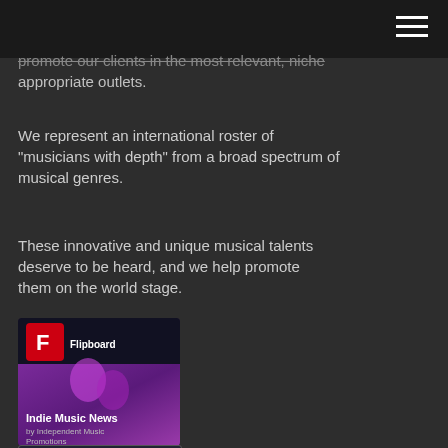promote our clients in the most relevant, niche appropriate outlets.
We represent an international roster of "musicians with depth" from a broad spectrum of musical genres.
These innovative and unique musical talents deserve to be heard, and we help promote them on the world stage.
[Figure (screenshot): Flipboard card showing 'Indie Music News by Independent Music Promotions' with a Read Magazine button, featuring a pink/purple background with stylized figures]